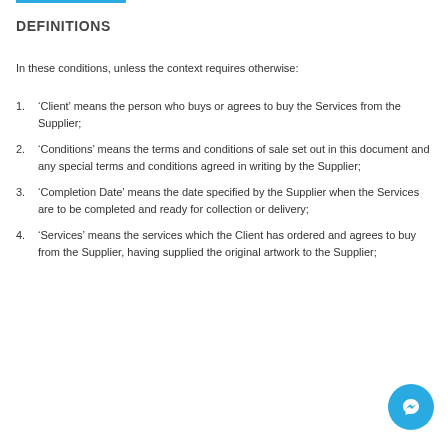DEFINITIONS
In these conditions, unless the context requires otherwise:
'Client' means the person who buys or agrees to buy the Services from the Supplier;
'Conditions' means the terms and conditions of sale set out in this document and any special terms and conditions agreed in writing by the Supplier;
'Completion Date' means the date specified by the Supplier when the Services are to be completed and ready for collection or delivery;
'Services' means the services which the Client has ordered and agrees to buy from the Supplier, having supplied the original artwork to the Supplier;